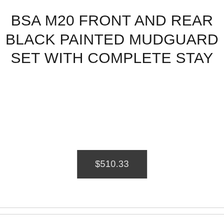BSA M20 FRONT AND REAR BLACK PAINTED MUDGUARD SET WITH COMPLETE STAY
$510.33